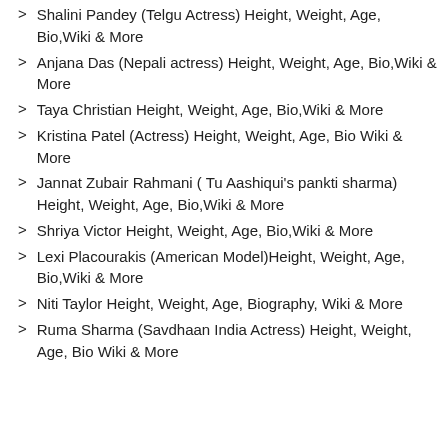Shalini Pandey (Telgu Actress) Height, Weight, Age, Bio,Wiki & More
Anjana Das (Nepali actress) Height, Weight, Age, Bio,Wiki & More
Taya Christian Height, Weight, Age, Bio,Wiki & More
Kristina Patel (Actress) Height, Weight, Age, Bio Wiki & More
Jannat Zubair Rahmani ( Tu Aashiqui's pankti sharma) Height, Weight, Age, Bio,Wiki & More
Shriya Victor Height, Weight, Age, Bio,Wiki & More
Lexi Placourakis (American Model)Height, Weight, Age, Bio,Wiki & More
Niti Taylor Height, Weight, Age, Biography, Wiki & More
Ruma Sharma (Savdhaan India Actress) Height, Weight, Age, Bio Wiki & More